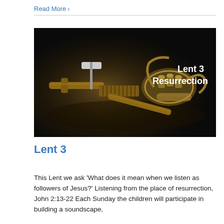Read More >
[Figure (photo): Dark background photo of wooden and brass musical instrument parts/tools laid on a surface, with white bold text overlay reading 'Lent 3 Resurrection' on the right side.]
Lent 3
This Lent we ask 'What does it mean when we listen as followers of Jesus?' Listening from the place of resurrection, John 2:13-22 Each Sunday the children will participate in building a soundscape,